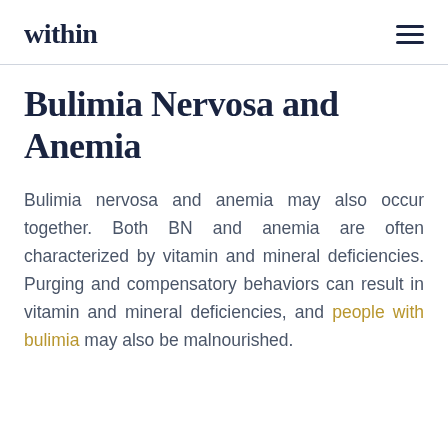within
Bulimia Nervosa and Anemia
Bulimia nervosa and anemia may also occur together. Both BN and anemia are often characterized by vitamin and mineral deficiencies. Purging and compensatory behaviors can result in vitamin and mineral deficiencies, and people with bulimia may also be malnourished.